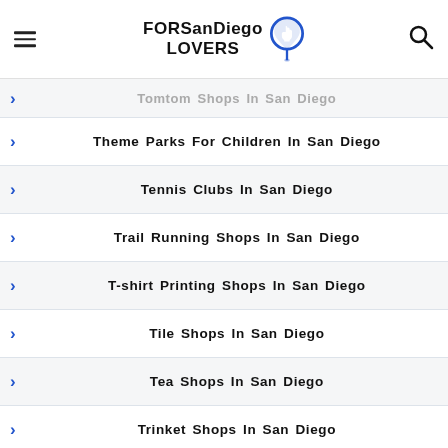FORSanDiegoLOVERS
Tomtom Shops In San Diego
Theme Parks For Children In San Diego
Tennis Clubs In San Diego
Trail Running Shops In San Diego
T-shirt Printing Shops In San Diego
Tile Shops In San Diego
Tea Shops In San Diego
Trinket Shops In San Diego
T-shirt Shops In San Diego